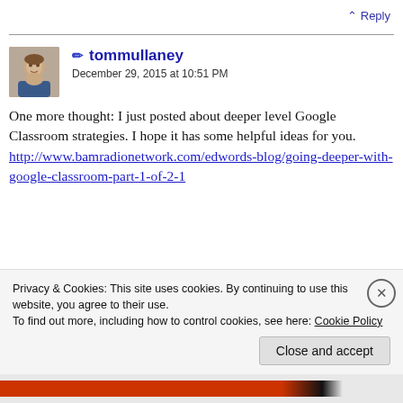↑ Reply
[Figure (photo): Avatar photo of user tommullaney - a man smiling]
✏ tommullaney
December 29, 2015 at 10:51 PM
One more thought: I just posted about deeper level Google Classroom strategies. I hope it has some helpful ideas for you. http://www.bamradionetwork.com/edwords-blog/going-deeper-with-google-classroom-part-1-of-2-1
Privacy & Cookies: This site uses cookies. By continuing to use this website, you agree to their use.
To find out more, including how to control cookies, see here: Cookie Policy
Close and accept